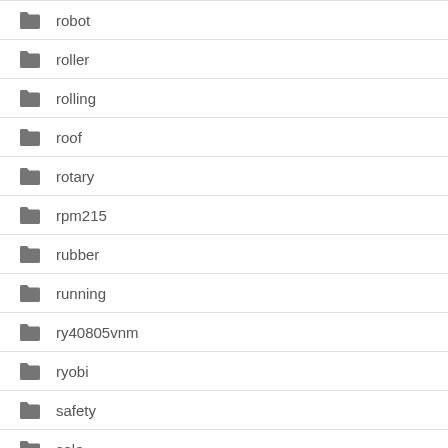robot
roller
rolling
roof
rotary
rpm215
rubber
running
ry40805vnm
ryobi
safety
sale